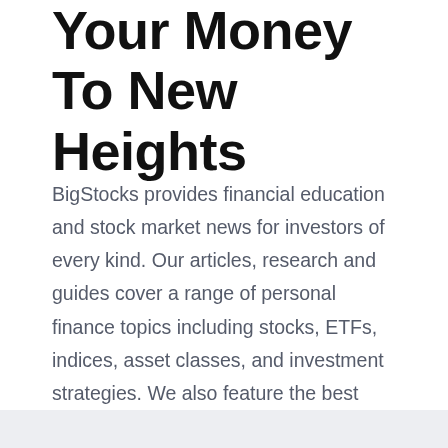Your Money To New Heights
BigStocks provides financial education and stock market news for investors of every kind. Our articles, research and guides cover a range of personal finance topics including stocks, ETFs, indices, asset classes, and investment strategies. We also feature the best stocks to buy each week.